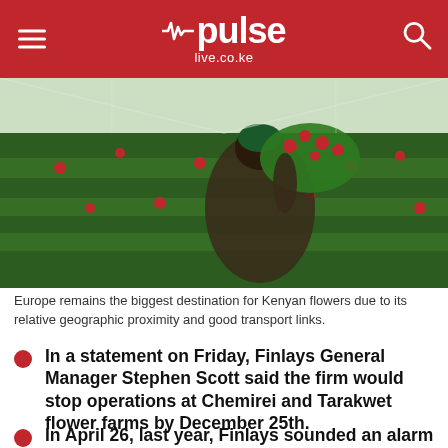pulse live.co.ke
[Figure (photo): A woman worker in a greenhouse carrying a large bundle of red roses in a flower farm in Kenya.]
Europe remains the biggest destination for Kenyan flowers due to its relative geographic proximity and good transport links.
In a statement on Friday, Finlays General Manager Stephen Scott said the firm would stop operations at Chemirei and Tarakwet flower farms by December 25th.
In April 26, last year, Finlays sounded an alarm that it could hardly keep the two 70-